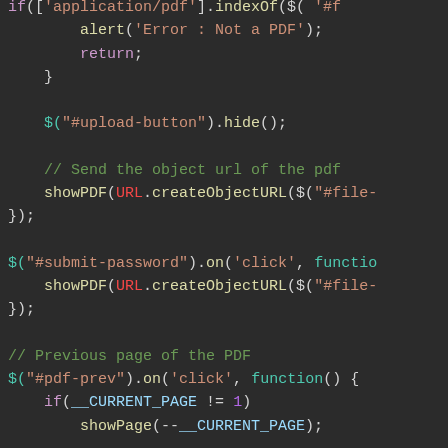[Figure (screenshot): Code editor screenshot showing JavaScript code with syntax highlighting on a dark background. Code includes jQuery event handlers for PDF upload and navigation, with colorized syntax for keywords, strings, selectors, and comments.]